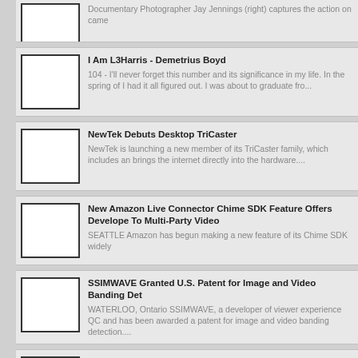Documentary Photographer Jay Jennings (right) captures the action on came...
I Am L3Harris - Demetrius Boyd
104 - I'll never forget this number and its significance in my life. In the spring of I had it all figured out. I was about to graduate fro...
NewTek Debuts Desktop TriCaster
NewTek is launching a new member of its TriCaster family, which includes an... brings the internet directly into the hardware....
New Amazon Live Connector Chime SDK Feature Offers Developer... To Multi-Party Video
SEATTLE Amazon has begun making a new feature of its Chime SDK widely...
SSIMWAVE Granted U.S. Patent for Image and Video Banding Det...
WATERLOO, Ontario SSIMWAVE, a developer of viewer experience QC and... has been awarded a patent for image and video banding detection....
FCC Sends Next Batch of EEO Audit Letters
WASHINGTON Approximately 150 randomly selected TV and radio stations a... they are part of the Federal Communication Commission's next EE...
Telemundo's Texas Stations to Launch New Morning Newscast
DALLAS-FORT WORTH, Texas The Telemundo Station Group has announce... Telemundo Texas , a new, two-hour weekday newscast, will begin airing acro...